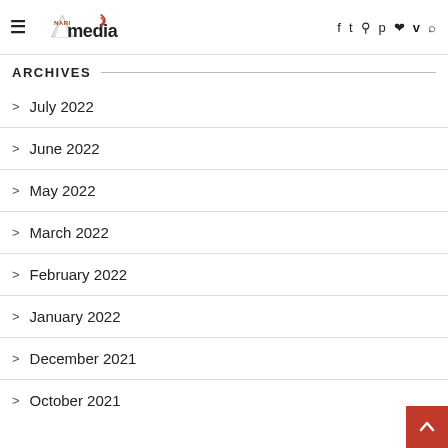Narimedia — site header with navigation icons
ARCHIVES
July 2022
June 2022
May 2022
March 2022
February 2022
January 2022
December 2021
October 2021